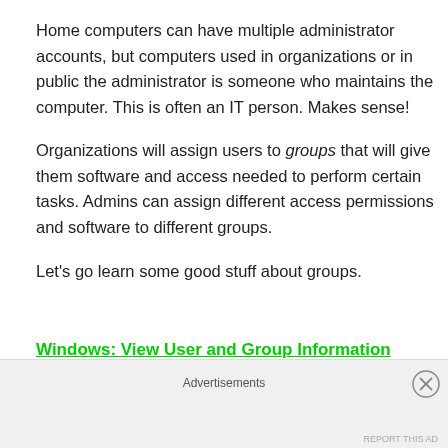Home computers can have multiple administrator accounts, but computers used in organizations or in public the administrator is someone who maintains the computer. This is often an IT person. Makes sense!
Organizations will assign users to groups that will give them software and access needed to perform certain tasks. Admins can assign different access permissions and software to different groups.
Let's go learn some good stuff about groups.
Windows: View User and Group Information
Advertisements